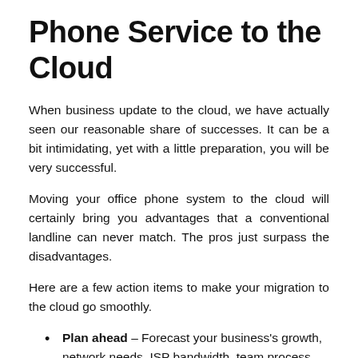Phone Service to the Cloud
When business update to the cloud, we have actually seen our reasonable share of successes. It can be a bit intimidating, yet with a little preparation, you will be very successful.
Moving your office phone system to the cloud will certainly bring you advantages that a conventional landline can never match. The pros just surpass the disadvantages.
Here are a few action items to make your migration to the cloud go smoothly.
Plan ahead – Forecast your business's growth, network needs, ISP bandwidth, team process. You'll locate that the obstacles have much less to do with VoIP and more to do with